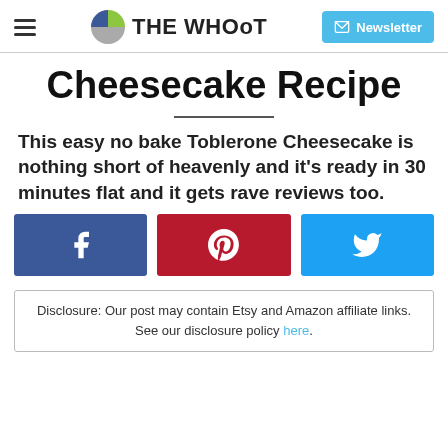THE WHOoT | Newsletter
Cheesecake Recipe
This easy no bake Toblerone Cheesecake is nothing short of heavenly and it's ready in 30 minutes flat and it gets rave reviews too.
[Figure (other): Social share buttons: Facebook, Pinterest, Twitter]
Disclosure: Our post may contain Etsy and Amazon affiliate links. See our disclosure policy here.